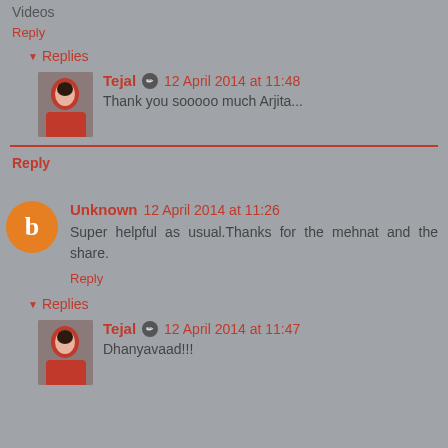Videos
Reply
▼ Replies
Tejal ✏ 12 April 2014 at 11:48
Thank you sooooo much Arjita...
Reply
Unknown 12 April 2014 at 11:26
Super helpful as usual.Thanks for the mehnat and the share.
Reply
▼ Replies
Tejal ✏ 12 April 2014 at 11:47
Dhanyavaad!!!